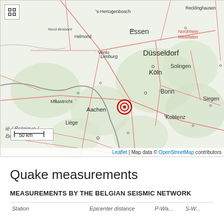[Figure (map): Interactive map showing Belgium, Netherlands, Germany, Luxembourg region with a seismic event marker (red bullseye) near Aachen/Bonn area in Germany. Shows cities including Düsseldorf, Köln, Bonn, Aachen, Liège, Maastricht, Koblenz, Frankfurt a. Main, Trier, Luxembourg, Letzebuerg, and regions Wallonie, Rheinland-Pfalz, Nordrhein-Westfalen, Limburg. Map uses OpenStreetMap data.]
Quake measurements
MEASUREMENTS BY THE BELGIAN SEISMIC NETWORK
| Station | Epicenter distance | P-Wavespeed | S-Wa... |
| --- | --- | --- | --- |